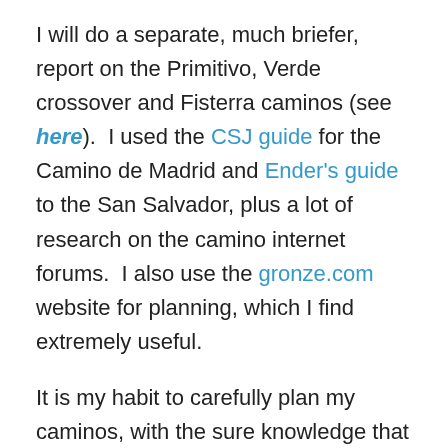I will do a separate, much briefer, report on the Primitivo, Verde crossover and Fisterra caminos (see here). I used the CSJ guide for the Camino de Madrid and Ender's guide to the San Salvador, plus a lot of research on the camino internet forums. I also use the gronze.com website for planning, which I find extremely useful.
It is my habit to carefully plan my caminos, with the sure knowledge that I can and will deviate from my plan for any good reason, or just on a whim. I have averaged 27 km per day on all of my caminos so I know my comfort zones. I am ok with distances of 35 km although would prefer not to do too many in a row. I like to walk a short stage into a major city, so that I have time to sight-see rather than take a day off. In fact over my five caminos, I have never taken a day off, although I know it suits many to do so now and